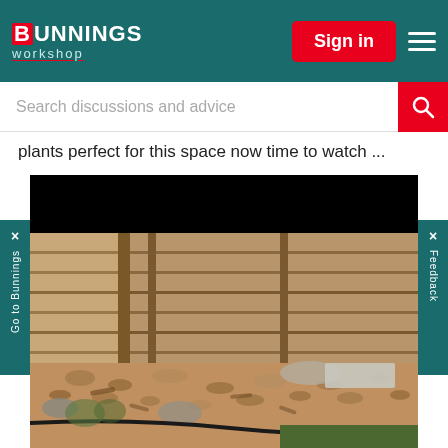[Figure (screenshot): Bunnings Workshop website header with logo, Sign in button, and hamburger menu on teal background]
[Figure (screenshot): Search bar with placeholder text 'Search discussions and advice' and red search icon]
plants perfect for this space now time to watch ...
[Figure (photo): Garden bed area with wooden fence in background, pebble/bark mulch ground cover, and grass visible on right. Left side tab reads 'Go to Bunnings' and right side tab reads 'Feedback'.]